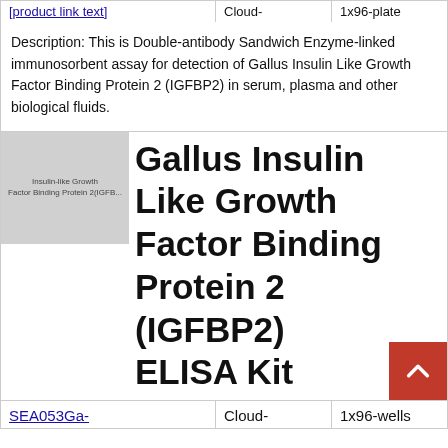| Product | Brand | Size |
| --- | --- | --- |
| [link text cropped] | Cloud- | 1x96-plate |
Description: This is Double-antibody Sandwich Enzyme-linked immunosorbent assay for detection of Gallus Insulin Like Growth Factor Binding Protein 2 (IGFBP2) in serum, plasma and other biological fluids.
[Figure (photo): Thumbnail image placeholder for Insulin Like Growth Factor Binding Protein 2 (IGFBP2) ELISA Kit product]
Gallus Insulin Like Growth Factor Binding Protein 2 (IGFBP2) ELISA Kit
| Product ID | Brand | Size |
| --- | --- | --- |
| SEA053Ga- | Cloud- | 1x96-wells |